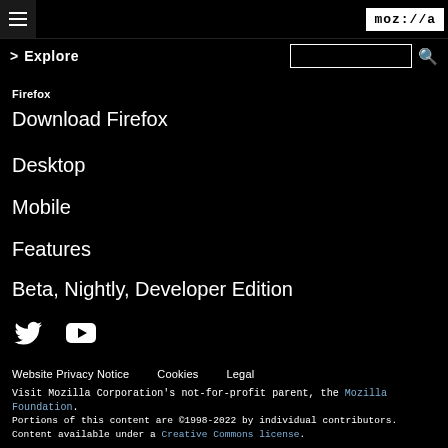moz://a
Explore
Firefox
Download Firefox
Desktop
Mobile
Features
Beta, Nightly, Developer Edition
Website Privacy Notice    Cookies    Legal
Visit Mozilla Corporation's not-for-profit parent, the Mozilla Foundation.
Portions of this content are ©1998-2022 by individual contributors. Content available under a Creative Commons license.